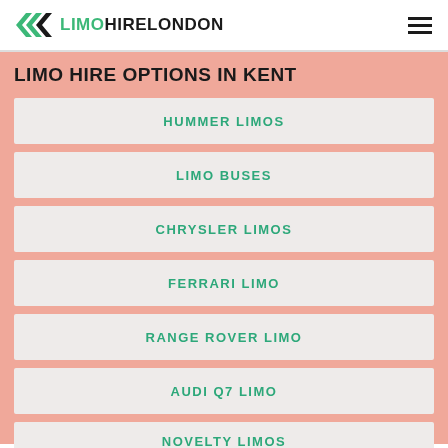LIMO HIRE LONDON
LIMO HIRE OPTIONS IN KENT
HUMMER LIMOS
LIMO BUSES
CHRYSLER LIMOS
FERRARI LIMO
RANGE ROVER LIMO
AUDI Q7 LIMO
NOVELTY LIMOS